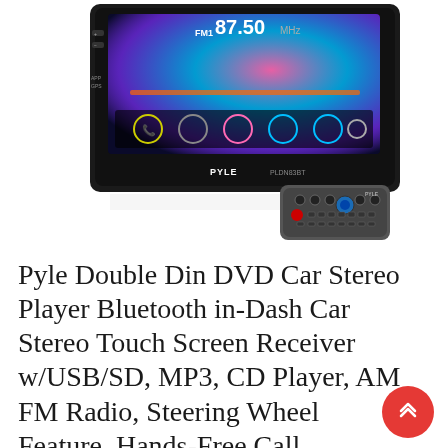[Figure (photo): Pyle PLDN83BT double din car stereo head unit with touchscreen showing FM radio and colorful display, with a remote control in front on a white background.]
Pyle Double Din DVD Car Stereo Player Bluetooth in-Dash Car Stereo Touch Screen Receiver w/USB/SD, MP3, CD Player, AM FM Radio, Steering Wheel Feature, Hands-Free Call, Camera/Speaker Input-PLDN83BT